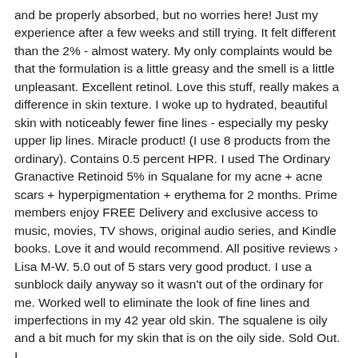and be properly absorbed, but no worries here! Just my experience after a few weeks and still trying. It felt different than the 2% - almost watery. My only complaints would be that the formulation is a little greasy and the smell is a little unpleasant. Excellent retinol. Love this stuff, really makes a difference in skin texture. I woke up to hydrated, beautiful skin with noticeably fewer fine lines - especially my pesky upper lip lines. Miracle product! (I use 8 products from the ordinary). Contains 0.5 percent HPR. I used The Ordinary Granactive Retinoid 5% in Squalane for my acne + acne scars + hyperpigmentation + erythema for 2 months. Prime members enjoy FREE Delivery and exclusive access to music, movies, TV shows, original audio series, and Kindle books. Love it and would recommend. All positive reviews › Lisa M-W. 5.0 out of 5 stars very good product. I use a sunblock daily anyway so it wasn't out of the ordinary for me. Worked well to eliminate the look of fine lines and imperfections in my 42 year old skin. The squalene is oily and a bit much for my skin that is on the oily side. Sold Out. I